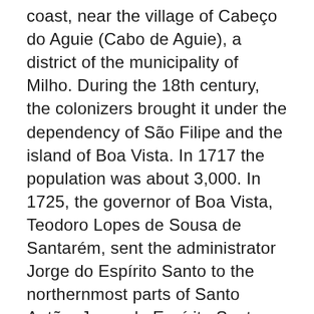coast, near the village of Cabeço do Aguie (Cabo de Aguie), a district of the municipality of Milho. During the 18th century, the colonizers brought it under the dependency of São Filipe and the island of Boa Vista. In 1717 the population was about 3,000. In 1725, the governor of Boa Vista, Teodoro Lopes de Sousa de Santarém, sent the administrator Jorge do Espírito Santo to the northernmost parts of Santo Antão. Jorge do Espírito Santo was unsuccessful in his effort to extend the trade of the island to the west coast. On June 11, 1726, the governor sent Jorge another administrator, Manuel de Sousa, to the eastern part of Santo Antão with the intent of